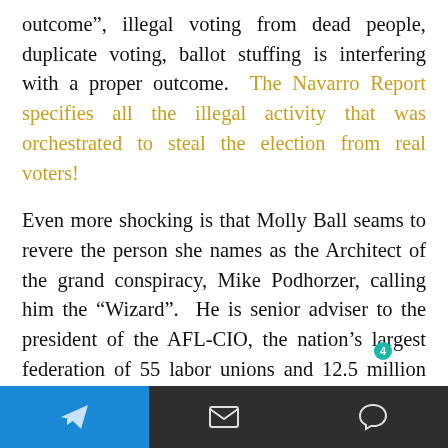outcome”, illegal voting from dead people, duplicate voting, ballot stuffing is interfering with a proper outcome.  The Navarro Report specifies all the illegal activity that was orchestrated to steal the election from real voters!
Even more shocking is that Molly Ball seams to revere the person she names as the Architect of the grand conspiracy, Mike Podhorzer, calling him the “Wizard”.  He is senior adviser to the president of the AFL-CIO, the nation’s largest federation of 55 labor unions and 12.5 million workers. His scheming started in November 2019
[Telegram icon] [Email icon] [Chat icon]